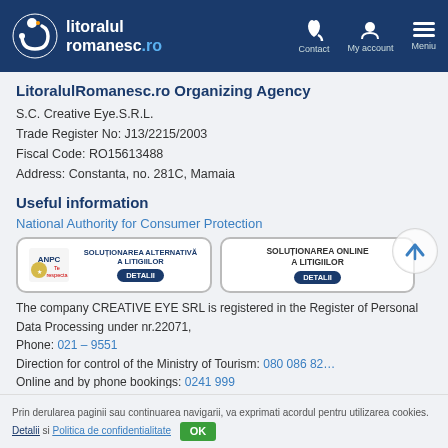[Figure (logo): LitoralulRomanesc.ro website header with logo, Contact, My account, and Meniu navigation items on dark blue background]
LitoralulRomanesc.ro Organizing Agency
S.C. Creative Eye.S.R.L.
Trade Register No: J13/2215/2003
Fiscal Code: RO15613488
Address: Constanta, no. 281C, Mamaia
Useful information
National Authority for Consumer Protection
[Figure (logo): Two ANPC badges: left shows ANPC logo with 'Solutionarea Alternativa a Litigiilor - Detalii' button, right shows 'Solutionarea Online a Litigiilor - Detalii' button]
The company CREATIVE EYE SRL is registered in the Register of Personal Data Processing under nr.22071,
Phone: 021 – 9551
Direction for control of the Ministry of Tourism: 080 086 82...
Online and by phone bookings: 0241 999
Constanta
Mamaia
Mamaia Nord
Prin derularea paginii sau continuarea navigarii, va exprimati acordul pentru utilizarea cookies. Detalii si Politica de confidentialitate  OK